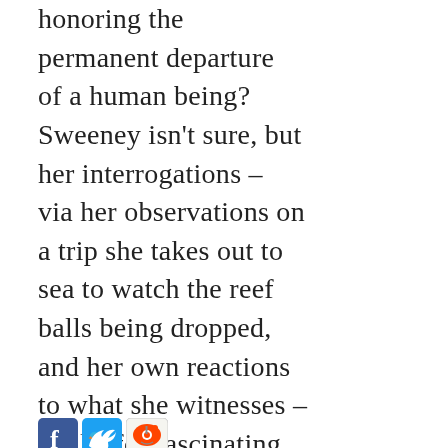honoring the permanent departure of a human being? Sweeney isn't sure, but her interrogations – via her observations on a trip she takes out to sea to watch the reef balls being dropped, and her own reactions to what she witnesses – make for fascinating and unsettling reading. —Sarah
[Figure (other): Social media sharing icons: Facebook, Twitter, Reddit]